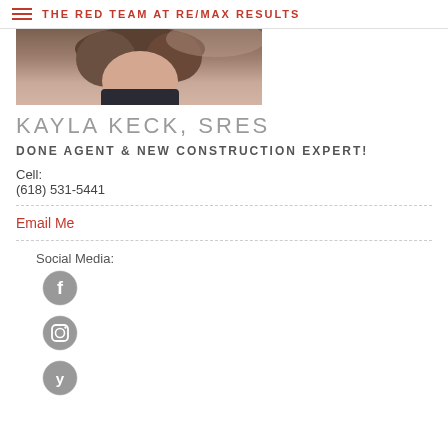THE RED TEAM AT RE/MAX RESULTS
[Figure (photo): Partial photo of a woman with brown hair, cropped at top]
KAYLA KECK, SRES
DONE AGENT & NEW CONSTRUCTION EXPERT!
Cell:
(618) 531-5441
Email Me
Social Media:
[Figure (logo): Facebook icon - grey circle with F]
[Figure (logo): Instagram icon - grey circle with camera]
[Figure (logo): Yelp icon - grey circle with Y]